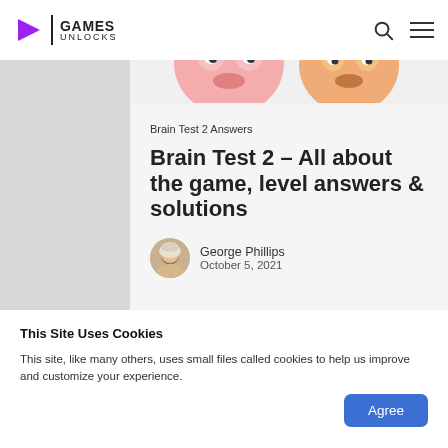GAMES UNLOCKS
[Figure (illustration): Cartoon characters / Brain Test 2 game banner image]
Brain Test 2 Answers
Brain Test 2 – All about the game, level answers & solutions
George Phillips
October 5, 2021
This Site Uses Cookies
This site, like many others, uses small files called cookies to help us improve and customize your experience.